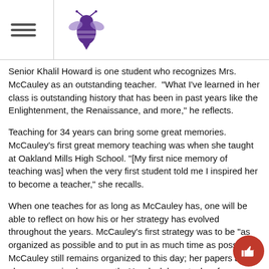[Hamburger menu icon] [School logo - purple hornet/bee mascot]
Senior Khalil Howard is one student who recognizes Mrs. McCauley as an outstanding teacher. "What I've learned in her class is outstanding history that has been in past years like the Enlightenment, the Renaissance, and more," he reflects.
Teaching for 34 years can bring some great memories. McCauley's first great memory teaching was when she taught at Oakland Mills High School. "[My first nice memory of teaching was] when the very first student told me I inspired her to become a teacher," she recalls.
When one teaches for as long as McCauley has, one will be able to reflect on how his or her strategy has evolved throughout the years. McCauley's first strategy was to be "as organized as possible and to put in as much time as possible." McCauley still remains organized to this day; her papers are always organized very neatly. Her desk has stacks of papers with not one out of place.
Nowadays, McCauley says, "When I first started, there was not the technology that exists. Now I incorporate technology." Even the simplest technology like a copier was not available when she first started teaching. Now, she can utilize the new inventions to her